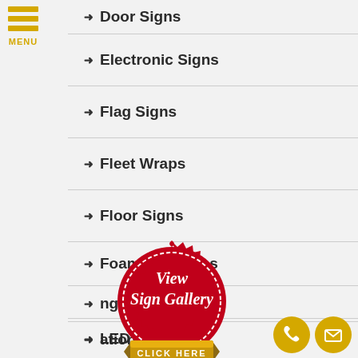Door Signs
Electronic Signs
Flag Signs
Fleet Wraps
Floor Signs
Foamcore Signs
Hanging Signs
National Signs
[Figure (illustration): Red stamp/seal badge with white dashed border, text 'View Sign Gallery' in white italic script, and gold ribbon banner at bottom reading 'CLICK HERE']
LED Signs